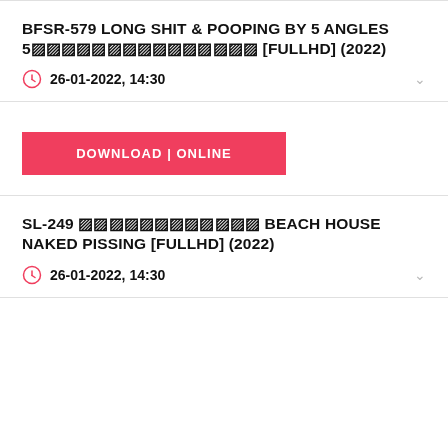BFSR-579 LONG SHIT & POOPING BY 5 ANGLES 5▓▓▓▓▓▓▓▓▓▓▓▓▓▓▓ [FULLHD] (2022)
26-01-2022, 14:30
DOWNLOAD | ONLINE
SL-249 ▓▓▓▓▓▓▓▓▓▓▓▓ BEACH HOUSE NAKED PISSING [FULLHD] (2022)
26-01-2022, 14:30